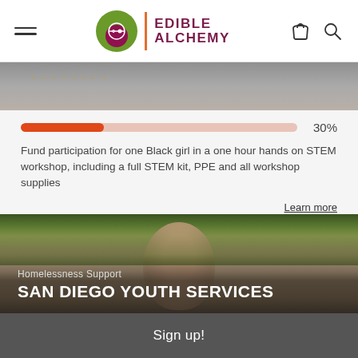Edible Alchemy — navigation header with logo, hamburger menu, basket icon, search icon
[Figure (photo): Partial view of a crowded STEM workshop scene, cropped at top]
[Figure (infographic): Progress bar showing 30% funding completion]
Fund participation for one Black girl in a one hour hands on STEM workshop, including a full STEM kit, PPE and all workshop supplies
Learn more
[Figure (photo): Close-up photo of a young boy's face outdoors with green foliage background]
Homelessness Support
SAN DIEGO YOUTH SERVICES
Sign up!